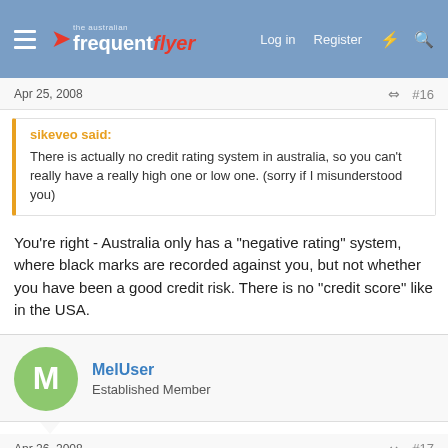[Figure (screenshot): Australian Frequent Flyer forum navigation bar with logo, Log in, Register, and icon links]
Apr 25, 2008
#16
sikeveo said:
There is actually no credit rating system in australia, so you can't really have a really high one or low one. (sorry if I misunderstood you)
You're right - Australia only has a "negative rating" system, where black marks are recorded against you, but not whether you have been a good credit risk. There is no "credit score" like in the USA.
MelUser
Established Member
Apr 26, 2008
#17
Pardon my ignorance but who is "VEDA" and how would one go about seeing a main credit report or something along those lines from